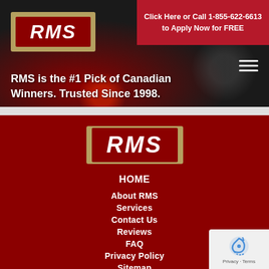[Figure (screenshot): RMS logo top-left with gold border and red background, white italic bold RMS text]
Click Here or Call 1-855-622-6613 to Apply Now for FREE
RMS is the #1 Pick of Canadian Winners. Trusted Since 1998.
[Figure (logo): RMS logo centered on red background with gold border]
HOME
About RMS
Services
Contact Us
Reviews
FAQ
Privacy Policy
Sitemap